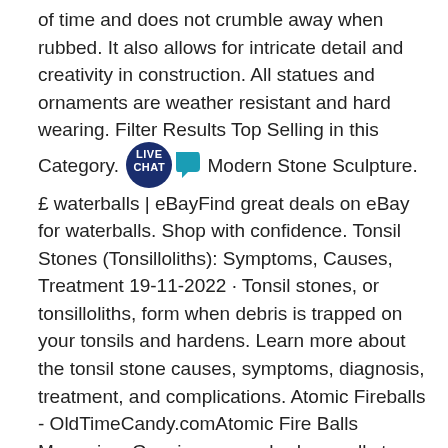of time and does not crumble away when rubbed. It also allows for intricate detail and creativity in construction. All statues and ornaments are weather resistant and hard wearing. Filter Results Top Selling in this Category. [LIVE CHAT badge] Modern Stone Sculpture. £ waterballs | eBayFind great deals on eBay for waterballs. Shop with confidence. Tonsil Stones (Tonsilloliths): Symptoms, Causes, Treatment 19-11-2022 · Tonsil stones, or tonsilloliths, form when debris is trapped on your tonsils and hardens. Learn more about the tonsil stone causes, symptoms, diagnosis, treatment, and complications. Atomic Fireballs - OldTimeCandy.comAtomic Fire Balls Memories. Growing up, we had a small store in our town that sold lots of different kinds of candy. As a small child, my parents used to drive to this store and allow my siblings and I to pick out some candies of our choice. I would grab a handful of Atomic Fireballs as part of my candy stash.